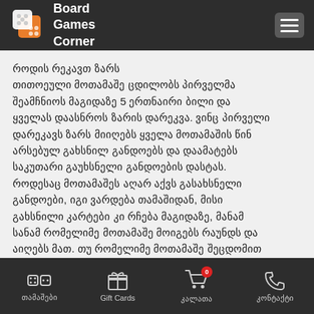Board Games Corner
როდის რეკავთ ზარს
თითოეული მოთამაშე ცდილობს პირველმა შეამჩნიოს მაგიდაზე 5 ერთნაირი ბილი და ყველას დაასნროს ზარის დარეკვა. ვინც პირველი დარეკავს ზარს მიიღებს ყველა მოთამაშის წინ არსებულ გახსნილ განდოებს და დაამატებს საკუთარი გაუხსნელი განდოების დასტას. როდესაც მოთამაშეს აღარ აქვს გასახსნელი განდოები, იგი ვარდება თამაშიდან, მისი გახსნილი კარტები კი რჩება მაგიდაზე, მანამ სანამ რომელიმე მოთამაშე მოიგებს რაუნდს და აიღებს მათ. თუ რომელიმე მოთამაშე შეცდომით დარეკავს ზარს, როდესაც მაგიდაზე არ არის 5
თამაშები   Gift Cards   კალათა   კონტაქტი